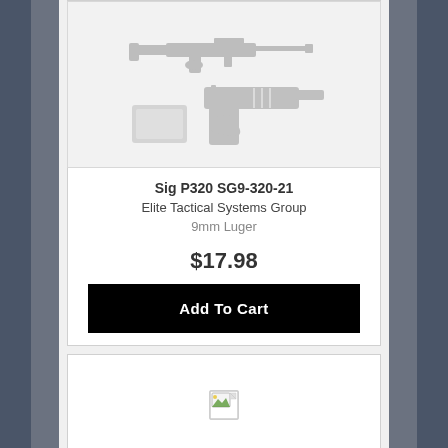[Figure (photo): Product image showing a rifle and a handgun on a light gray background inside a white card]
Sig P320 SG9-320-21
Elite Tactical Systems Group
9mm Luger
$17.98
Add To Cart
[Figure (photo): Broken/missing product image placeholder icon in second product card]